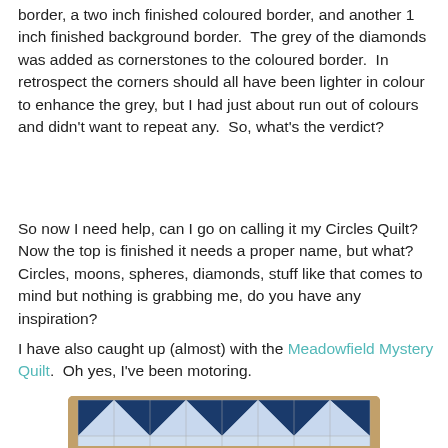border, a two inch finished coloured border, and another 1 inch finished background border.  The grey of the diamonds was added as cornerstones to the coloured border.  In retrospect the corners should all have been lighter in colour to enhance the grey, but I had just about run out of colours and didn't want to repeat any.  So, what's the verdict?
So now I need help, can I go on calling it my Circles Quilt?  Now the top is finished it needs a proper name, but what?  Circles, moons, spheres, diamonds, stuff like that comes to mind but nothing is grabbing me, do you have any inspiration?
I have also caught up (almost) with the Meadowfield Mystery Quilt.  Oh yes, I've been motoring.
[Figure (photo): Photo of a quilt block layout showing a pattern of blue and white half-square triangle blocks arranged in a pinwheel/hourglass pattern, set on a wooden surface background]